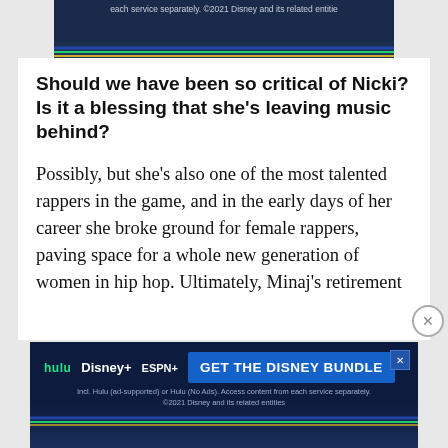[Figure (screenshot): Top Disney bundle advertisement banner showing text: 'each service separately. ©2021 Disney and its related entitie' with decorative colored lines (blue, green, gold) at bottom]
Should we have been so critical of Nicki? Is it a blessing that she's leaving music behind?
Possibly, but she's also one of the most talented rappers in the game, and in the early days of her career she broke ground for female rappers, paving space for a whole new generation of women in hip hop. Ultimately, Minaj's retirement
[Figure (screenshot): Bottom Disney Bundle advertisement showing Hulu, Disney+, ESPN+ logos with 'GET THE DISNEY BUNDLE' button and fine print: 'Incl. Hulu (ad-supported) or Hulu (No Ads). Access content from each service separately. ©2021 Disney and its related entities']